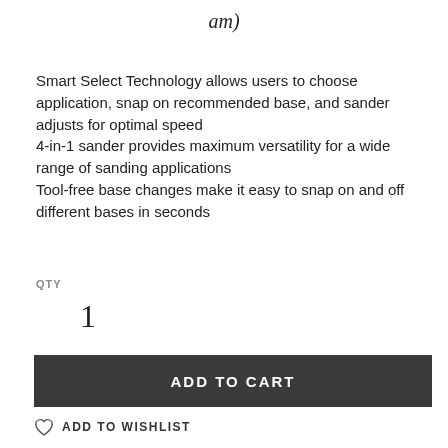am)
Smart Select Technology allows users to choose application, snap on recommended base, and sander adjusts for optimal speed
4-in-1 sander provides maximum versatility for a wide range of sanding applications
Tool-free base changes make it easy to snap on and off different bases in seconds
QTY
1
ADD TO CART
ADD TO WISHLIST